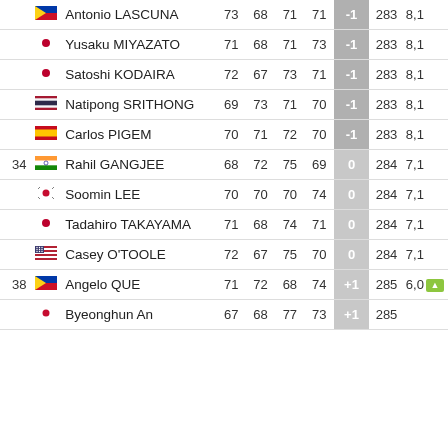| Pos | Flag | Player | R1 | R2 | R3 | R4 | Score | Total | Prize |
| --- | --- | --- | --- | --- | --- | --- | --- | --- | --- |
|  | PHL | Antonio LASCUNA | 73 | 68 | 71 | 71 | -1 | 283 | 8,1 |
|  | JPN | Yusaku MIYAZATO | 71 | 68 | 71 | 73 | -1 | 283 | 8,1 |
|  | JPN | Satoshi KODAIRA | 72 | 67 | 73 | 71 | -1 | 283 | 8,1 |
|  | THA | Natipong SRITHONG | 69 | 73 | 71 | 70 | -1 | 283 | 8,1 |
|  | ESP | Carlos PIGEM | 70 | 71 | 72 | 70 | -1 | 283 | 8,1 |
| 34 | IND | Rahil GANGJEE | 68 | 72 | 75 | 69 | 0 | 284 | 7,1 |
|  | KOR | Soomin LEE | 70 | 70 | 70 | 74 | 0 | 284 | 7,1 |
|  | JPN | Tadahiro TAKAYAMA | 71 | 68 | 74 | 71 | 0 | 284 | 7,1 |
|  | USA | Casey O'TOOLE | 72 | 67 | 75 | 70 | 0 | 284 | 7,1 |
| 38 | PHL | Angelo QUE | 71 | 72 | 68 | 74 | +1 | 285 | 6,0 |
|  | KOR | Byeonghun An | 67 | 68 | 77 | 73 | +1 | 285 |  |